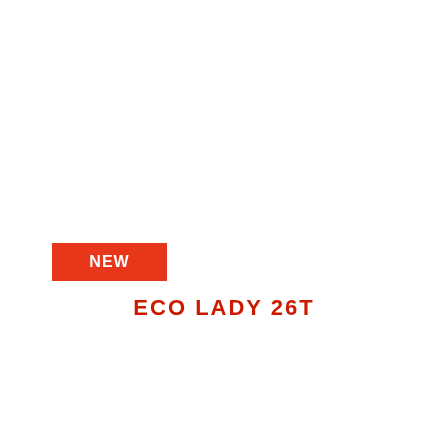[Figure (other): Red rectangle badge with white bold text 'NEW']
ECO LADY 26T